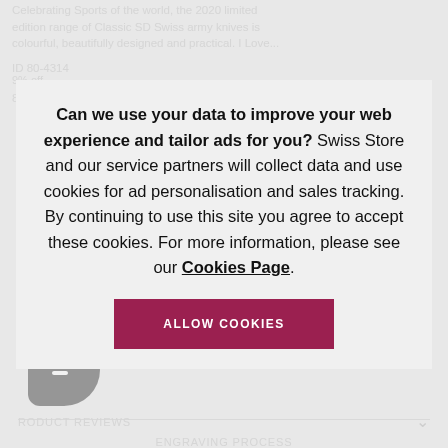Celebrating Sports of the world, the 2020 limited edition range of Classic SD Swiss army knives is colourful, beautifully designed and practical. I Love...
ID 80-4314
9% off
89.7 SEK
Can we use your data to improve your web experience and tailor ads for you? Swiss Store and our service partners will collect data and use cookies for ad personalisation and sales tracking. By continuing to use this site you agree to accept these cookies. For more information, please see our Cookies Page.
ALLOW COOKIES
SPECIFICATION
DELIVERY & RETURNS
PRODUCT REVIEWS
ENGRAVING PROCESS